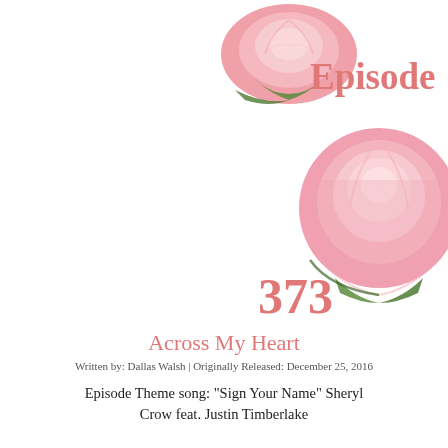[Figure (illustration): Two pink rose illustrations used as decorative headers for the episode page]
Episode
373
Across My Heart
Written by: Dallas Walsh | Originally Released: December 25, 2016
Episode Theme song: "Sign Your Name" Sheryl Crow feat. Justin Timberlake
Previously on One Day at a Time
- Paige kissed Shane on Christmas Day
- Dawn ran away from home and was staying at the guesthouse on the Calimo mansion grounds
- Shane filed for divorce from Natasha
- Lukas still hadn't made up his mind about being with Craig or Donovan